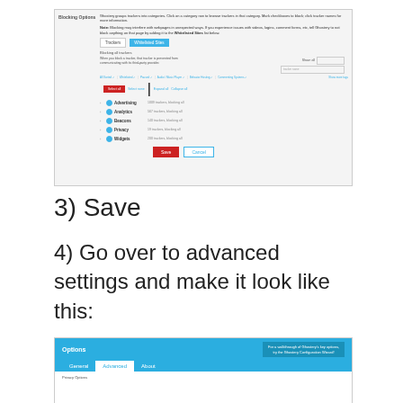[Figure (screenshot): Screenshot of Ghostery Blocking Options panel showing Trackers and Whitelisted Sites tabs, categories (Advertising, Analytics, Beacons, Privacy, Widgets) with checkboxes, Select All button highlighted in red border, and Save/Cancel buttons with Save highlighted in red border at bottom.]
3) Save
4) Go over to advanced settings and make it look like this:
[Figure (screenshot): Screenshot of Ghostery Options page showing General, Advanced, and About tabs. The Advanced tab is active. There is a blue header bar with 'Options' title and a wizard box on the right.]